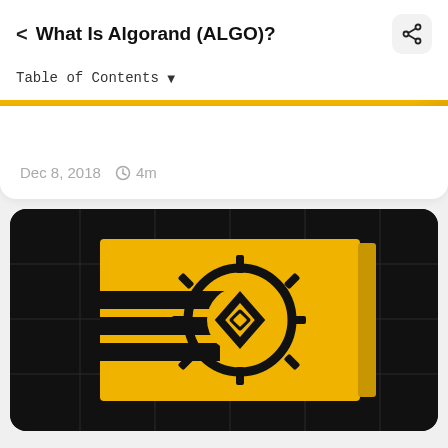What Is Algorand (ALGO)?
Table of Contents
Dec 8, 2018   4m
[Figure (illustration): Algorand (ALGO) cryptocurrency logo — a dark background with a yellow/gold panel, featuring a circular gear-like emblem with a diamond shape in the center, representing the ALGO coin, on a dark grid-patterned background]